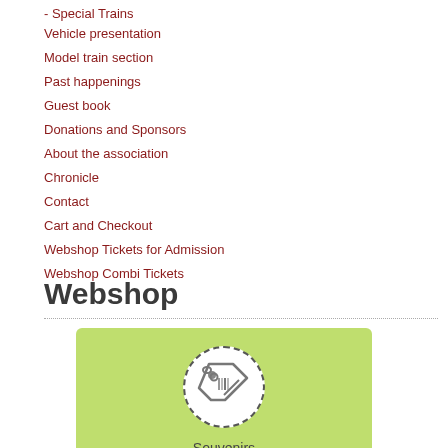- Special Trains
Vehicle presentation
Model train section
Past happenings
Guest book
Donations and Sponsors
About the association
Chronicle
Contact
Cart and Checkout
Webshop Tickets for Admission
Webshop Combi Tickets
Webshop Special Train Tickets
Webshop Souvenirs
Webshop
[Figure (illustration): Green card with a price tag icon inside a white dashed circle and the label 'Souvenirs' below]